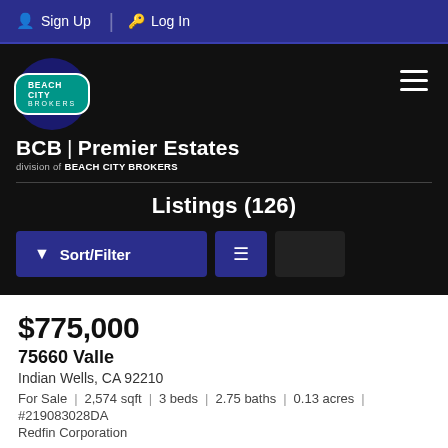Sign Up | Log In
[Figure (logo): Beach City Brokers logo with teal oval badge and BCB Premier Estates branding on black background]
Listings (126)
$775,000
75660 Valle
Indian Wells, CA 92210
For Sale | 2,574 sqft | 3 beds | 2.75 baths | 0.13 acres | #219083028DA
Redfin Corporation